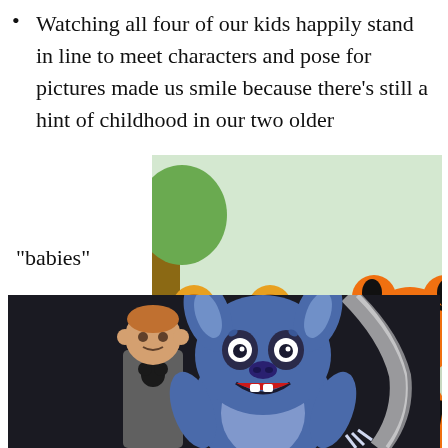Watching all four of our kids happily stand in line to meet characters and pose for pictures made us smile because there’s still a hint of childhood in our two older “babies”
[Figure (photo): Four children posing with Winnie the Pooh and Tigger Disney characters in an indoor meet-and-greet setting with illustrated mural background]
[Figure (photo): A boy posing with Stitch Disney character in a meet-and-greet setting with dark background]